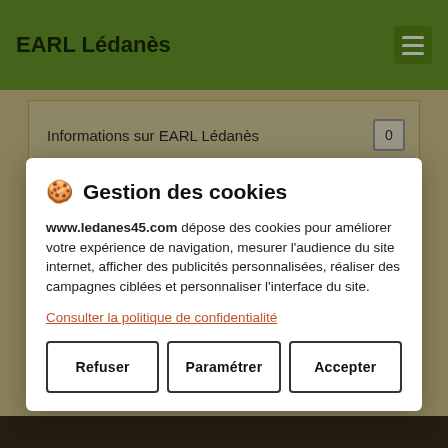EARL Lédanès
Informations sur EARL Lédanès  0
Nos produits  0
Discussions générales  0
🍪  Gestion des cookies
www.ledanes45.com dépose des cookies pour améliorer votre expérience de navigation, mesurer l'audience du site internet, afficher des publicités personnalisées, réaliser des campagnes ciblées et personnaliser l'interface du site.
Consulter la politique de confidentialité
Refuser | Paramétrer | Accepter